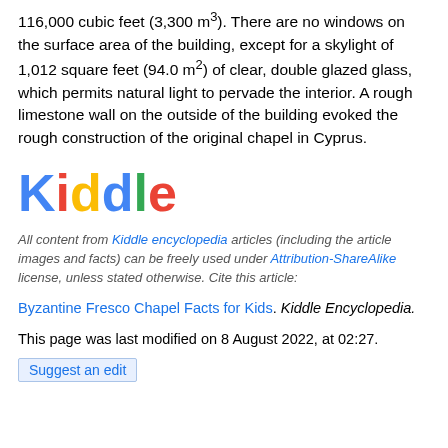116,000 cubic feet (3,300 m³). There are no windows on the surface area of the building, except for a skylight of 1,012 square feet (94.0 m²) of clear, double glazed glass, which permits natural light to pervade the interior. A rough limestone wall on the outside of the building evoked the rough construction of the original chapel in Cyprus.
[Figure (logo): Kiddle logo with colorful letters: K in blue, i in red (with red dot), d in yellow, d in blue, l in green, e in red]
All content from Kiddle encyclopedia articles (including the article images and facts) can be freely used under Attribution-ShareAlike license, unless stated otherwise. Cite this article:
Byzantine Fresco Chapel Facts for Kids. Kiddle Encyclopedia.
This page was last modified on 8 August 2022, at 02:27.
Suggest an edit